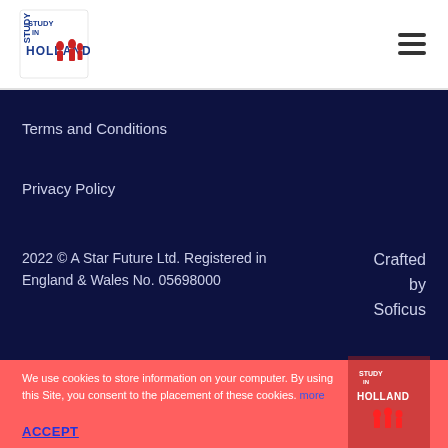[Figure (logo): Study in Holland logo with red and blue figures and text]
Terms and Conditions
Privacy Policy
2022 © A Star Future Ltd. Registered in England & Wales No. 05698000
Crafted by Soficus
We use cookies to store information on your computer. By using this Site, you consent to the placement of these cookies. more
ACCEPT